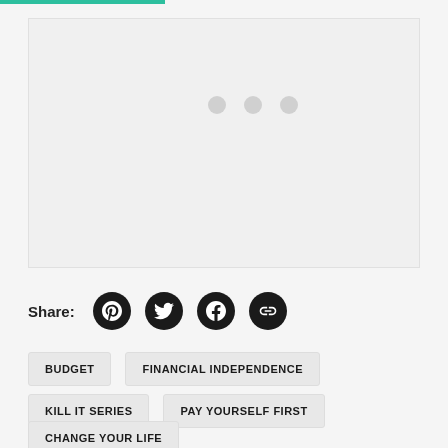[Figure (other): Content area placeholder with three dots indicating a slideshow or media embed]
Share:
BUDGET
FINANCIAL INDEPENDENCE
KILL IT SERIES
PAY YOURSELF FIRST
CHANGE YOUR LIFE